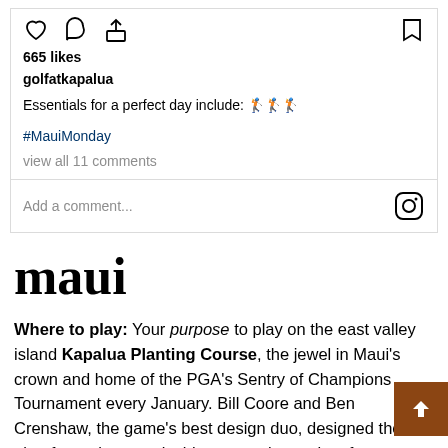[Figure (screenshot): Instagram post action bar with heart, comment, share icons on left and bookmark icon on right]
665 likes
golfatkapalua
Essentials for a perfect day include: 🏌️🏌️🏌️
#MauiMonday
view all 11 comments
Add a comment...
maui
Where to play: Your purpose to play on the east valley island Kapalua Planting Course, the jewel in Maui's crown and home of the PGA's Sentry of Champions Tournament every January. Bill Coore and Ben Crenshaw, the game's best design duo, designed the pine-framed mountainside course, located on former pineapple plantation, in 1992. They renovated it a f